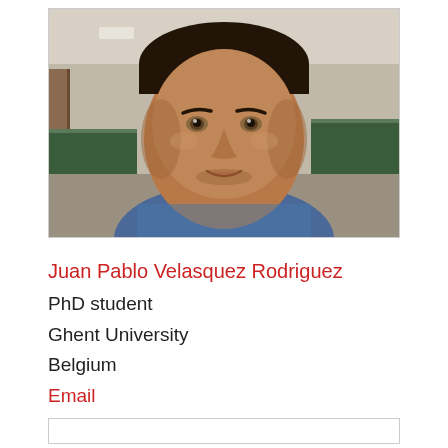[Figure (photo): Portrait photo of a young man with short dark hair, wearing a blue denim shirt, in front of chalkboards in a classroom setting.]
Juan Pablo Velasquez Rodriguez
PhD student
Ghent University
Belgium
Email